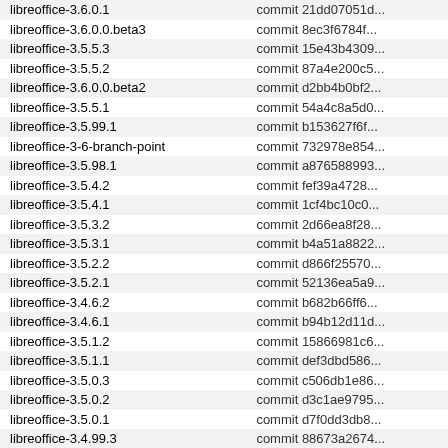| tag | commit |
| --- | --- |
| libreoffice-3.6.0.1 | commit 21dd07051d... |
| libreoffice-3.6.0.0.beta3 | commit 8ec3f6784f... |
| libreoffice-3.5.5.3 | commit 15e43b4309... |
| libreoffice-3.5.5.2 | commit 87a4e200c5... |
| libreoffice-3.6.0.0.beta2 | commit d2bb4b0bf2... |
| libreoffice-3.5.5.1 | commit 54a4c8a5d0... |
| libreoffice-3.5.99.1 | commit b153627f6f... |
| libreoffice-3-6-branch-point | commit 732978e854... |
| libreoffice-3.5.98.1 | commit a876588993... |
| libreoffice-3.5.4.2 | commit fef39a4728... |
| libreoffice-3.5.4.1 | commit 1cf4bc10c0... |
| libreoffice-3.5.3.2 | commit 2d66ea8f28... |
| libreoffice-3.5.3.1 | commit b4a51a8822... |
| libreoffice-3.5.2.2 | commit d866f25570... |
| libreoffice-3.5.2.1 | commit 52136ea5a9... |
| libreoffice-3.4.6.2 | commit b682b66ff6... |
| libreoffice-3.4.6.1 | commit b94b12d11d... |
| libreoffice-3.5.1.2 | commit 15866981c6... |
| libreoffice-3.5.1.1 | commit def3dbd586... |
| libreoffice-3.5.0.3 | commit c506db1e86... |
| libreoffice-3.5.0.2 | commit d3c1ae9795... |
| libreoffice-3.5.0.1 | commit d7f0dd3db8... |
| libreoffice-3.4.99.3 | commit 88673a2674... |
| libreoffice-3.4.5.2 | commit 694fa06b66... |
| libreoffice-3.3.4-final | commit 5425afc3bd... |
| libreoffice-3.3.3-final | commit 427cdc528... |